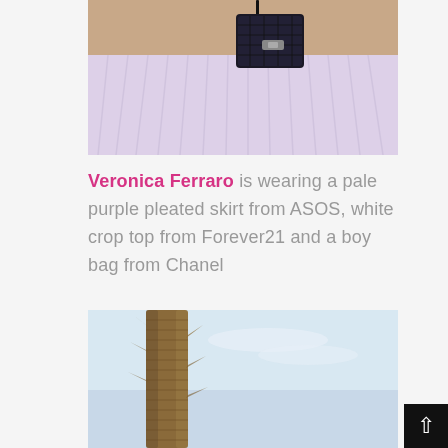[Figure (photo): Close-up photo of a person holding a black quilted Chanel boy bag against a pale purple pleated skirt, with a tan/brown shoulder visible]
Veronica Ferraro is wearing a pale purple pleated skirt from ASOS, white crop top from Forever21 and a boy bag from Chanel
[Figure (photo): Photo of a tall palm tree trunk against a light blue sky]